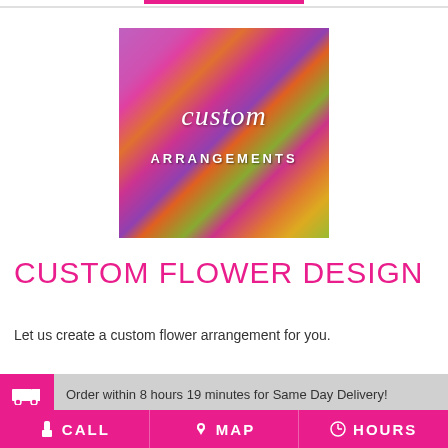[Figure (photo): Custom flower arrangement photo showing colorful flowers — orange roses, purple/pink blooms, green berries, with text overlay reading 'custom ARRANGEMENTS']
CUSTOM FLOWER DESIGN
Let us create a custom flower arrangement for you.
Order within 8 hours 19 minutes for Same Day Delivery!
CALL   MAP   HOURS